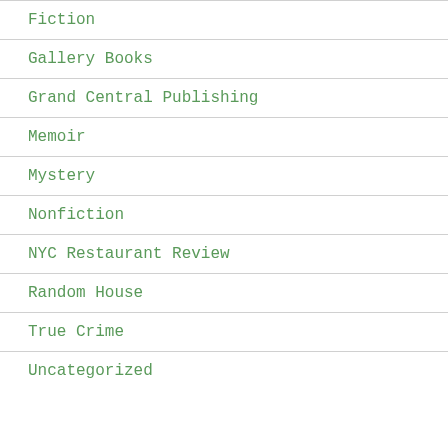Fiction
Gallery Books
Grand Central Publishing
Memoir
Mystery
Nonfiction
NYC Restaurant Review
Random House
True Crime
Uncategorized